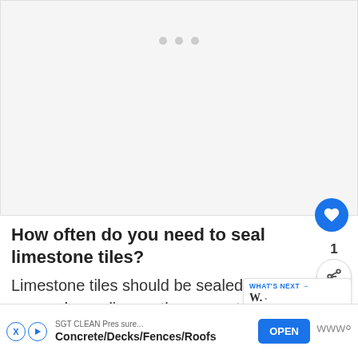[Figure (other): Gray placeholder image area with three dots at top indicating a loading or slideshow widget]
How often do you need to seal limestone tiles?
Limestone tiles should be sealed every 3-4 years, depending on the amount of traffic the tiles are subject to. Sealing the tiles protects them from staining and makes them easier to clean.
[Figure (other): What's Next promotional widget showing 'Is AWS free forever?' with The Markup logo]
[Figure (other): Bottom ad banner: SGT CLEAN Pressure... Concrete/Decks/Fences/Roofs with OPEN button]